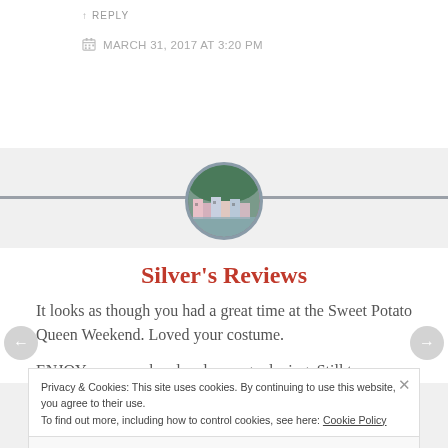REPLY
MARCH 31, 2017 AT 3:20 PM
[Figure (photo): Circular avatar image showing colorful waterfront buildings with green hillside]
Silver's Reviews
It looks as though you had a great time at the Sweet Potato Queen Weekend. Loved your costume.
ENJOY your weekend and your gardening. Still too
Privacy & Cookies: This site uses cookies. By continuing to use this website, you agree to their use. To find out more, including how to control cookies, see here: Cookie Policy
Close and accept